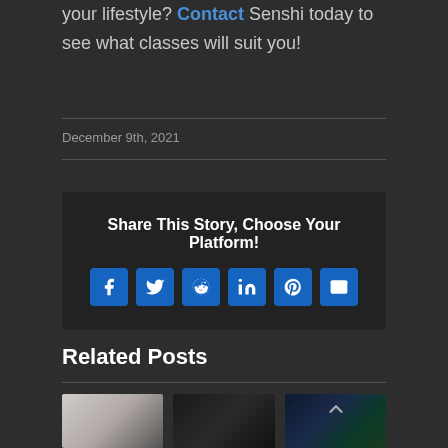your lifestyle? Contact Senshi today to see what classes will suit you!
December 9th, 2021
[Figure (infographic): Share This Story, Choose Your Platform! Social media share buttons: Facebook, Twitter, Reddit, LinkedIn, Pinterest, Email]
Related Posts
[Figure (photo): Three related post thumbnail images at bottom of page]